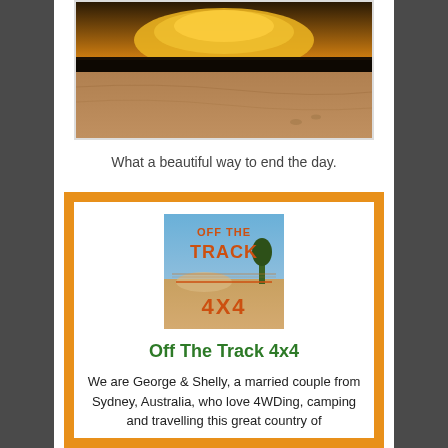[Figure (photo): Sunset over sandy dunes with silhouetted trees along the horizon and dramatic orange and gold clouds.]
What a beautiful way to end the day.
[Figure (logo): Off The Track 4x4 logo — orange bold text on sandy/sky background]
Off The Track 4x4
We are George & Shelly, a married couple from Sydney, Australia, who love 4WDing, camping and travelling this great country of